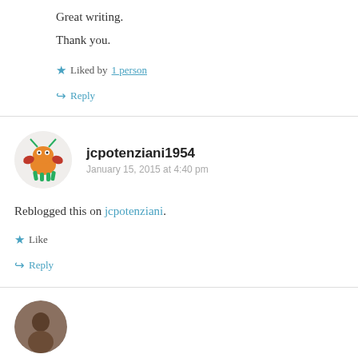Great writing.
Thank you.
Liked by 1 person
Reply
jcpotenziani1954
January 15, 2015 at 4:40 pm
Reblogged this on jcpotenziani.
Like
Reply